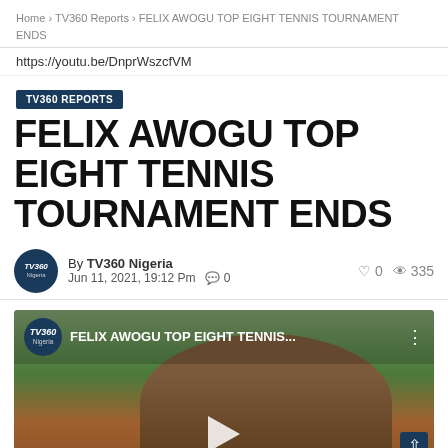Home > TV360 Reports > FELIX AWOGU TOP EIGHT TENNIS TOURNAMENT ENDS
https://youtu.be/DnprWszcfVM
TV360 REPORTS
FELIX AWOGU TOP EIGHT TENNIS TOURNAMENT ENDS
By TV360 Nigeria
Jun 11, 2021, 19:12 Pm  0   0   335
[Figure (screenshot): Video thumbnail showing a man's face with glasses, outdoors with trees and buildings visible. TV360 Nigeria logo in the top left. Title text reads 'FELIX AWOGU TOP EIGHT TENNIS...' with a play button in the center.]